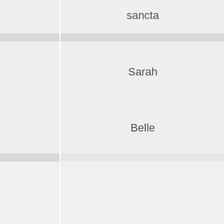| Sancia | sancta |
| Sandrine | Sarah |
| Rose | Belle |
| Seattle |  |
| Seed |  |
| Co. | seem |